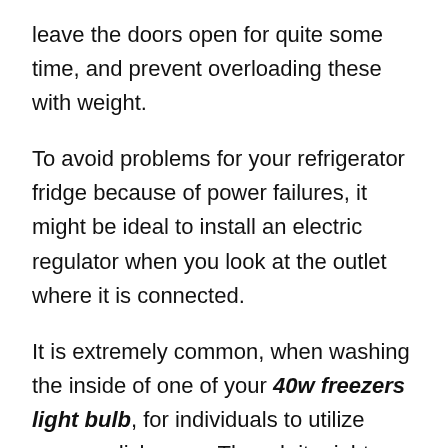leave the doors open for quite some time, and prevent overloading these with weight.
To avoid problems for your refrigerator fridge because of power failures, it might be ideal to install an electric regulator when you look at the outlet where it is connected.
It is extremely common, when washing the inside of one of your 40w freezers light bulb, for individuals to utilize soap or dish soap. Though it might seem harmless, the compounds in these products could stay static in the refrigerator and then be used in the